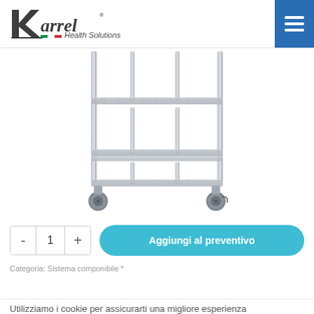Karrel Health Solutions — navigation header with menu button
[Figure (photo): Chrome wire-shelf medical/hospital cart on wheels with three tiers and vertical dividers]
- 1 + Aggiungi al preventivo
Categoria: Sistema componibile *
Utilizziamo i cookie per assicurarti una migliore esperienza